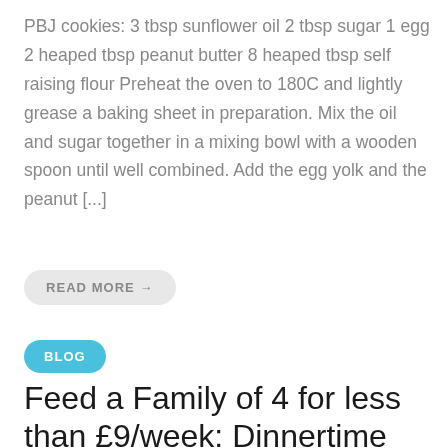PBJ cookies: 3 tbsp sunflower oil 2 tbsp sugar 1 egg 2 heaped tbsp peanut butter 8 heaped tbsp self raising flour Preheat the oven to 180C and lightly grease a baking sheet in preparation. Mix the oil and sugar together in a mixing bowl with a wooden spoon until well combined. Add the egg yolk and the peanut [...]
READ MORE →
BLOG
Feed a Family of 4 for less than £9/week: Dinnertime